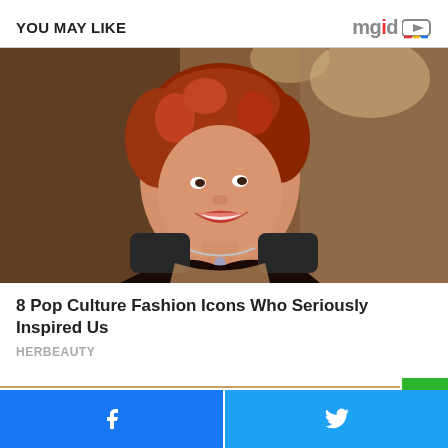YOU MAY LIKE
[Figure (photo): Young woman with curly red hair smiling, wearing a black sparkly dress with a diamond necklace, in a dimly lit indoor setting]
8 Pop Culture Fashion Icons Who Seriously Inspired Us
HERBEAUTY
[Figure (photo): Partial view of a second article image at the bottom]
Facebook share button | Twitter share button